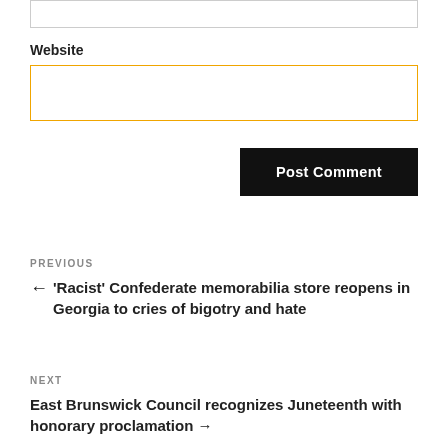Website
Post Comment
PREVIOUS
← 'Racist' Confederate memorabilia store reopens in Georgia to cries of bigotry and hate
NEXT
East Brunswick Council recognizes Juneteenth with honorary proclamation →